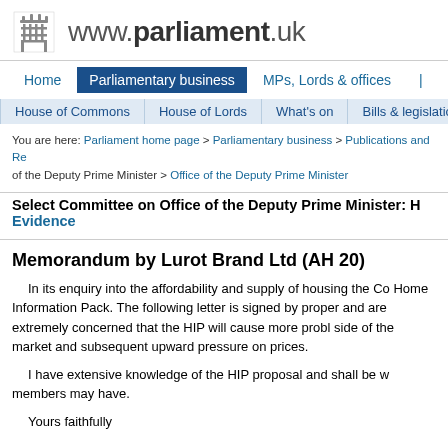www.parliament.uk
Home | Parliamentary business | MPs, Lords & offices | About
House of Commons | House of Lords | What's on | Bills & legislation
You are here: Parliament home page > Parliamentary business > Publications and Re of the Deputy Prime Minister > Office of the Deputy Prime Minister
Select Committee on Office of the Deputy Prime Minister: H Evidence
Memorandum by Lurot Brand Ltd (AH 20)
In its enquiry into the affordability and supply of housing the Co Home Information Pack. The following letter is signed by proper and are extremely concerned that the HIP will cause more probl side of the market and subsequent upward pressure on prices.
I have extensive knowledge of the HIP proposal and shall be w members may have.
Yours faithfully